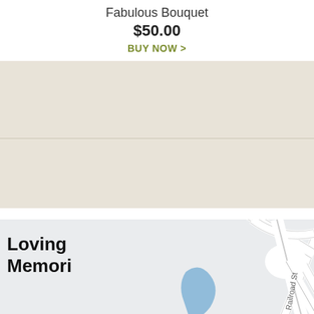Fabulous Bouquet
$50.00
BUY NOW >
[Figure (map): Street map showing Arnold St, Railroad St, and Starr St intersection near Loving Memories funeral home location]
Loving Memories
511 Star St.